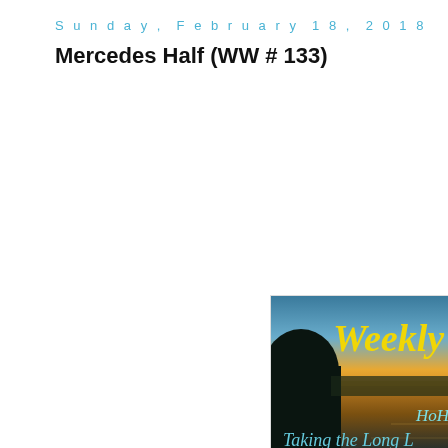Sunday, February 18, 2018
Mercedes Half (WW # 133)
[Figure (photo): A sunset over a lake with a tree silhouette on the left, golden sun reflecting off the water, with stylized text overlay reading 'Weekly W...', 'HoHo Ru...' and 'Taking the Long ...' in yellow and cyan italic script.]